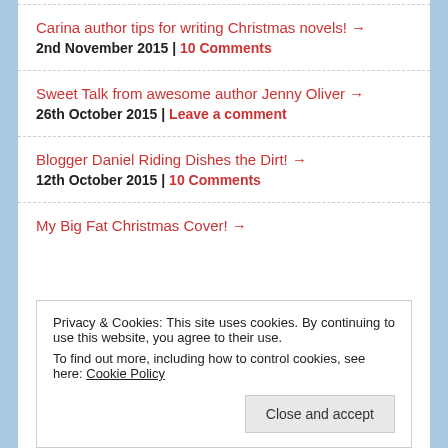Carina author tips for writing Christmas novels! → | 2nd November 2015 | 10 Comments
Sweet Talk from awesome author Jenny Oliver → | 26th October 2015 | Leave a comment
Blogger Daniel Riding Dishes the Dirt! → | 12th October 2015 | 10 Comments
My Big Fat Christmas Cover! →
Privacy & Cookies: This site uses cookies. By continuing to use this website, you agree to their use. To find out more, including how to control cookies, see here: Cookie Policy